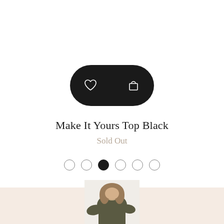[Figure (other): Two black circular icon buttons: a heart/wishlist icon and a shopping bag icon, side by side]
Make It Yours Top Black
Sold Out
[Figure (other): Pagination dots: 6 circles, the third one filled/active (black), others are outlines]
[Figure (photo): Partial product photo of a woman wearing a dark olive/khaki long-sleeve top and shorts with a belt, visible from torso down, partially cut off at page bottom]